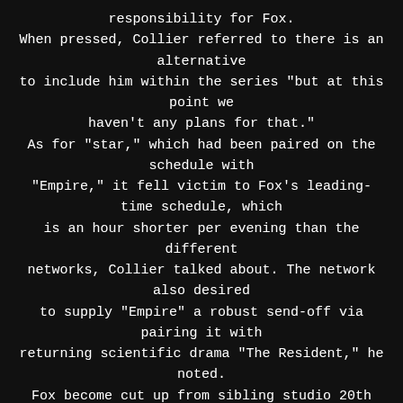responsibility for Fox. When pressed, Collier referred to there is an alternative to include him within the series "but at this point we haven't any plans for that." As for "star," which had been paired on the schedule with "Empire," it fell victim to Fox's leading-time schedule, which is an hour shorter per evening than the different networks, Collier talked about. The network also desired to supply "Empire" a robust send-off via pairing it with returning scientific drama "The Resident," he noted. Fox become cut up from sibling studio 20th Century Fox tv after Walt Disney Co. bought the studio and other principal assets of Rupert Murdoch's media empire. however Collier, in a strenuously upbeat remark, pointed out today "marks a starting for Fox enjoyment" because it works with numerous studios for its new shows.